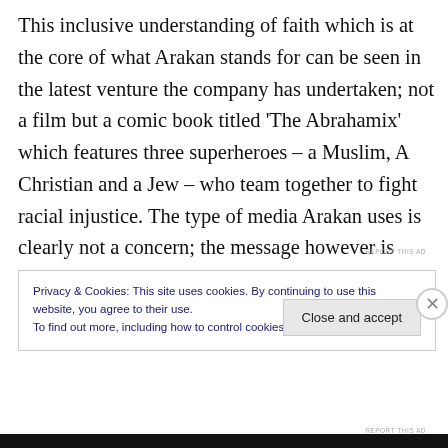This inclusive understanding of faith which is at the core of what Arakan stands for can be seen in the latest venture the company has undertaken; not a film but a comic book titled 'The Abrahamix' which features three superheroes – a Muslim, A Christian and a Jew – who team together to fight racial injustice. The type of media Arakan uses is clearly not a concern; the message however is unwavering.
REPORT THIS AD
Privacy & Cookies: This site uses cookies. By continuing to use this website, you agree to their use.
To find out more, including how to control cookies, see here: Cookie Policy
Close and accept